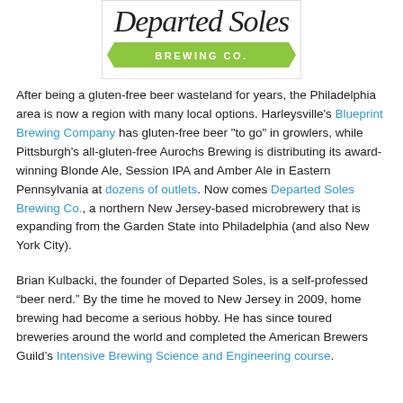[Figure (logo): Departed Soles Brewing Co. logo with script text and green banner ribbon reading 'BREWING CO.']
After being a gluten-free beer wasteland for years, the Philadelphia area is now a region with many local options. Harleysville's Blueprint Brewing Company has gluten-free beer "to go" in growlers, while Pittsburgh's all-gluten-free Aurochs Brewing is distributing its award-winning Blonde Ale, Session IPA and Amber Ale in Eastern Pennsylvania at dozens of outlets. Now comes Departed Soles Brewing Co., a northern New Jersey-based microbrewery that is expanding from the Garden State into Philadelphia (and also New York City).
Brian Kulbacki, the founder of Departed Soles, is a self-professed “beer nerd.” By the time he moved to New Jersey in 2009, home brewing had become a serious hobby. He has since toured breweries around the world and completed the American Brewers Guild’s Intensive Brewing Science and Engineering course.